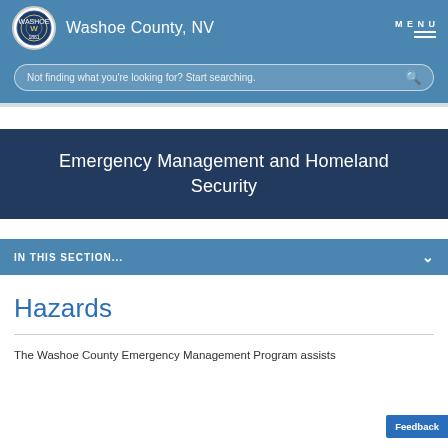Washoe County, NV
Not finding what you're looking for? Start searching.
Emergency Management and Homeland Security
IN THIS SECTION...
Hazards
The Washoe County Emergency Management Program assists